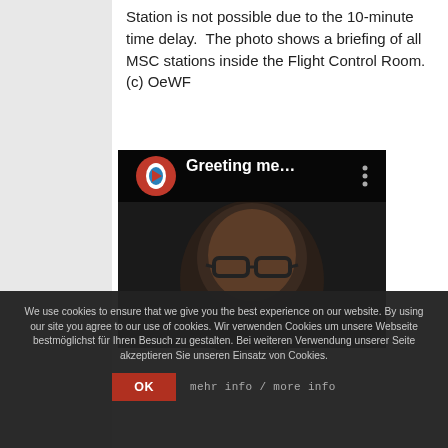Station is not possible due to the 10-minute time delay.  The photo shows a briefing of all MSC stations inside the Flight Control Room. (c) OeWF
[Figure (screenshot): YouTube video thumbnail showing a person with glasses in a dark setting. Channel logo (OeWF red circle logo) visible top left. Title shows 'Greeting me...' with a vertical three-dot menu icon.]
We use cookies to ensure that we give you the best experience on our website. By using our site you agree to our use of cookies. Wir verwenden Cookies um unsere Webseite bestmöglichst für Ihren Besuch zu gestalten. Bei weiteren Verwendung unserer Seite akzeptieren Sie unseren Einsatz von Cookies.